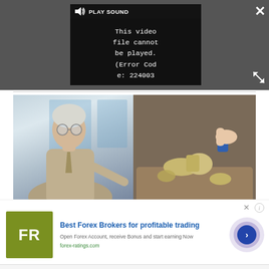[Figure (screenshot): Video player UI showing error message: 'This video file cannot be played. (Error Code: 224003)' with PLAY SOUND button, close X button, and expand/fullscreen button on dark grey background]
[Figure (photo): Split image: left side shows an older male doctor/dentist in suit and glasses pointing at something in a dental setting; right side shows a hand holding dental implants/teeth models over a tray]
[Figure (screenshot): Advertisement banner for Forex Ratings (FR logo in olive/green square). Text: 'Best Forex Brokers for profitable trading', 'Open Forex Account, receive Bonus and start earning Now', 'forex-ratings.com'. Blue arrow button on right side with circular design.]